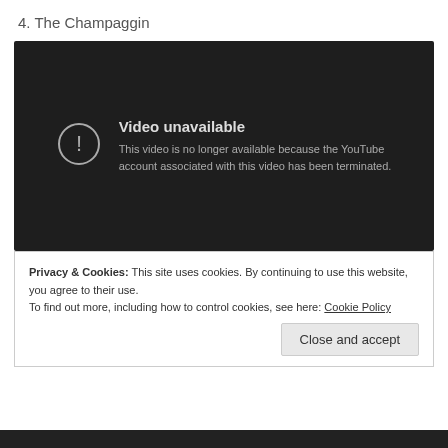4. The Champaggin
[Figure (screenshot): YouTube video unavailable screen with dark background. Icon of exclamation mark in circle on left. Text: 'Video unavailable' followed by 'This video is no longer available because the YouTube account associated with this video has been terminated.']
Privacy & Cookies: This site uses cookies. By continuing to use this website, you agree to their use.
To find out more, including how to control cookies, see here: Cookie Policy
Close and accept